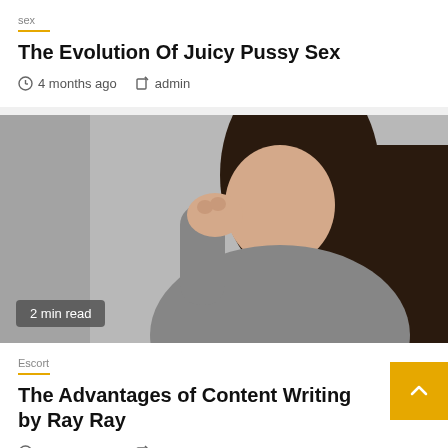sex
The Evolution Of Juicy Pussy Sex
4 months ago   admin
[Figure (photo): Woman with long dark hair in a grey turtleneck holding her hand near her mouth/nose, grey background. Badge reads '2 min read'.]
Escort
The Advantages of Content Writing by Ray Ray
5 months ago   admin